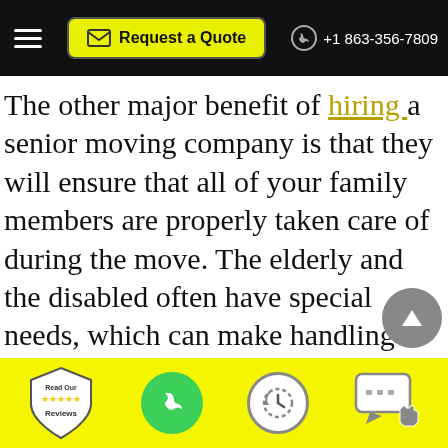Request a Quote  +1 863-356-7809
The other major benefit of hiring a senior moving company is that they will ensure that all of your family members are properly taken care of during the move. The elderly and the disabled often have special needs, which can make handling them a bit difficult. You may end up forgetting about certain family members who are in a wheelchair, for example. With senior moving companies on board, you can count on them to be extra careful to take care of your family members in every way. They will also make sure that all of your household goods are properly packed to prevent loss.
Read Our Reviews  [phone]  [clock]  [chat]